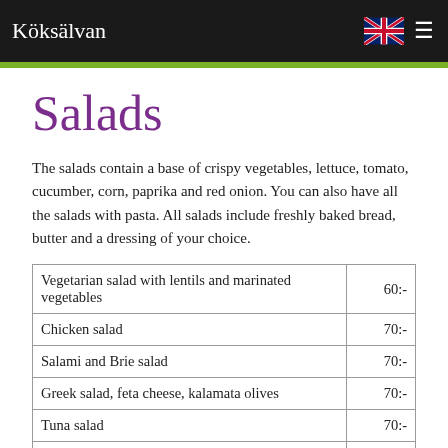Köksälvan
Salads
The salads contain a base of crispy vegetables, lettuce, tomato, cucumber, corn, paprika and red onion. You can also have all the salads with pasta. All salads include freshly baked bread, butter and a dressing of your choice.
| Vegetarian salad with lentils and marinated vegetables | 60:- |
| Chicken salad | 70:- |
| Salami and Brie salad | 70:- |
| Greek salad, feta cheese, kalamata olives | 70:- |
| Tuna salad | 70:- |
| Cheese and Ham salad | 70:- |
| Mozzarella … | 75… |